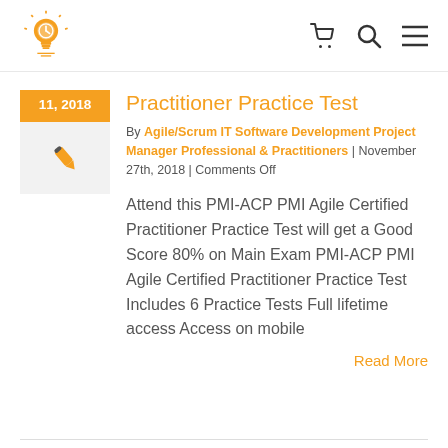Logo and navigation icons (cart, search, menu)
Practitioner Practice Test
By Agile/Scrum IT Software Development Project Manager Professional & Practitioners | November 27th, 2018 | Comments Off
Attend this PMI-ACP PMI Agile Certified Practitioner Practice Test will get a Good Score 80% on Main Exam PMI-ACP PMI Agile Certified Practitioner Practice Test Includes 6 Practice Tests Full lifetime access Access on mobile
Read More